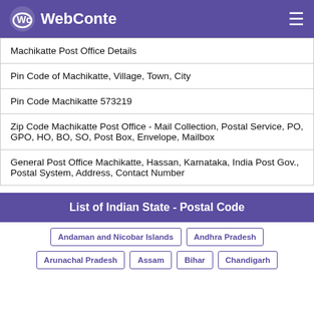WebConte
| Machikatte Post Office Details |
| Pin Code of Machikatte, Village, Town, City |
| Pin Code Machikatte 573219 |
| Zip Code Machikatte Post Office - Mail Collection, Postal Service, PO, GPO, HO, BO, SO, Post Box, Envelope, Mailbox |
| General Post Office Machikatte, Hassan, Karnataka, India Post Gov., Postal System, Address, Contact Number |
List of Indian State - Postal Code
Andaman and Nicobar Islands
Andhra Pradesh
Arunachal Pradesh
Assam
Bihar
Chandigarh